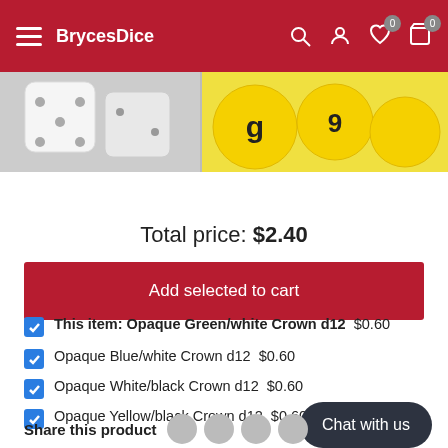BrycesDice
[Figure (photo): Two product images: left shows white/grey dice, right shows yellow dice with black numbers on yellow background]
Total price: $2.40
Add selected to cart
This item: Opaque Green/white Crown d12  $0.60
Opaque Blue/white Crown d12  $0.60
Opaque White/black Crown d12  $0.60
Opaque Yellow/black Crown d12  $0.60
Share this product
Chat with us